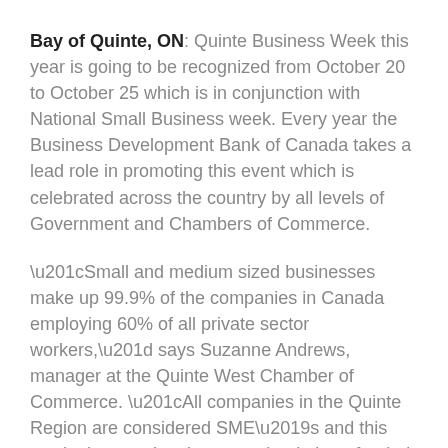Bay of Quinte, ON: Quinte Business Week this year is going to be recognized from October 20 to October 25 which is in conjunction with National Small Business week. Every year the Business Development Bank of Canada takes a lead role in promoting this event which is celebrated across the country by all levels of Government and Chambers of Commerce.
“Small and medium sized businesses make up 99.9% of the companies in Canada employing 60% of all private sector workers,” says Suzanne Andrews, manager at the Quinte West Chamber of Commerce. “All companies in the Quinte Region are considered SME’s and this week gives us the chance to thank them for their contributions to our local economy.”
The purpose of the week is to highlight the importance of Small and Medium sized companies to the Canadian and